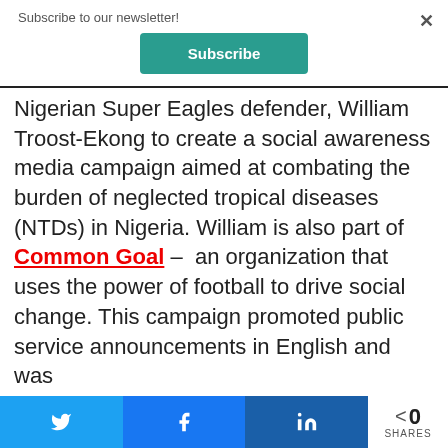Subscribe to our newsletter!
[Figure (other): Subscribe button (teal/green color)]
Nigerian Super Eagles defender, William Troost-Ekong to create a social awareness media campaign aimed at combating the burden of neglected tropical diseases (NTDs) in Nigeria. William is also part of Common Goal – an organization that uses the power of football to drive social change. This campaign promoted public service announcements in English and was
[Figure (other): Social share bar with Twitter, Facebook, LinkedIn buttons and share count of 0]